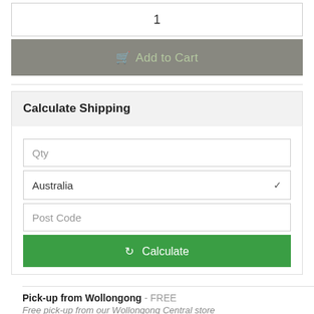1
Add to Cart
Calculate Shipping
Qty
Australia
Post Code
Calculate
Pick-up from Wollongong - FREE
Free pick-up from our Wollongong Central store